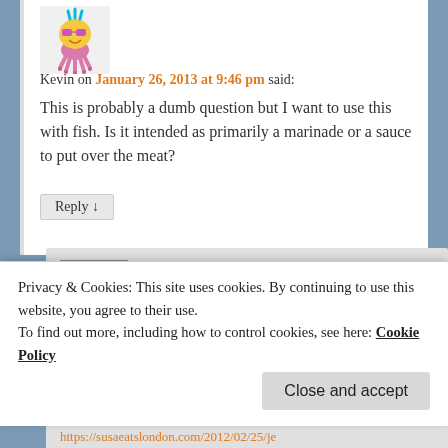[Figure (illustration): Avatar image of user Kevin — colorful stylized illustration with tentacle-like figures]
Kevin on January 26, 2013 at 9:46 pm said:
This is probably a dumb question but I want to use this with fish. Is it intended as primarily a marinade or a sauce to put over the meat?
Reply ↓
[Figure (photo): Avatar photo of user Susan — black and white photo of a woman]
Susan on January 28, 2013 at 4:21 pm said:
Hi Kevin, thanks for visiting. This jerk
Privacy & Cookies: This site uses cookies. By continuing to use this website, you agree to their use.
To find out more, including how to control cookies, see here: Cookie Policy
Close and accept
https://susaeatslondon.com/2012/02/25/je